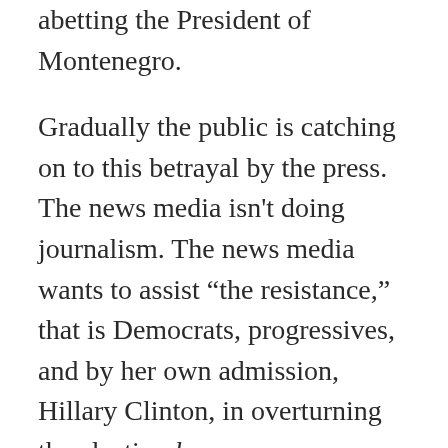abetting the President of Montenegro.
Gradually the public is catching on to this betrayal by the press. The news media isn't doing journalism. The news media wants to assist “the resistance,” that is Democrats, progressives, and by her own admission, Hillary Clinton, in overturning the election by any means necessary. Astoundingly, journalists don’t see what they are doing to their credibility, democracy, and the institution